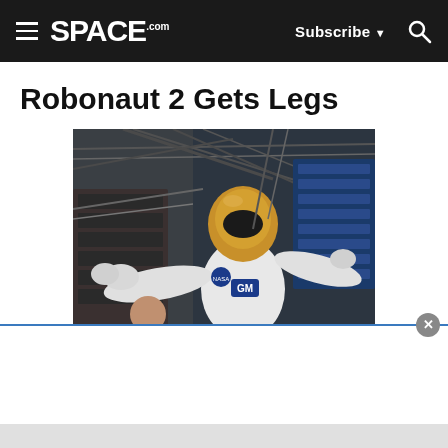SPACE.com | Subscribe | Search
Robonaut 2 Gets Legs
[Figure (photo): Robonaut 2 humanoid robot with gold helmet and white body aboard the International Space Station, arms outstretched, with an astronaut visible in the background. The robot has newly attached legs visible at the bottom.]